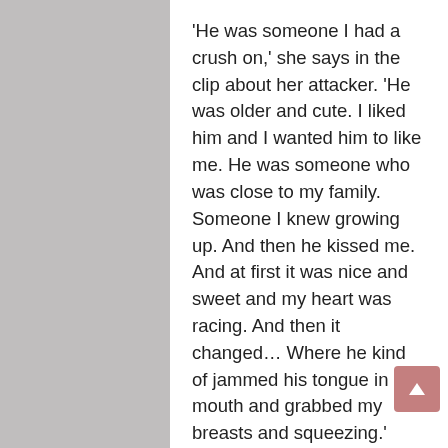'He was someone I had a crush on,' she says in the clip about her attacker. 'He was older and cute. I liked him and I wanted him to like me. He was someone who was close to my family. Someone I knew growing up. And then he kissed me. And at first it was nice and sweet and my heart was racing. And then it changed… Where he kind of jammed his tongue in my mouth and grabbed my breasts and squeezing.'
Hatvany cries and her words get muffled as she continues to recount: 'I was pushing him off and telling him no. I didn't know how to fight back. I didn't know if I was supposed to. I thought, "Is this how it goes?"'